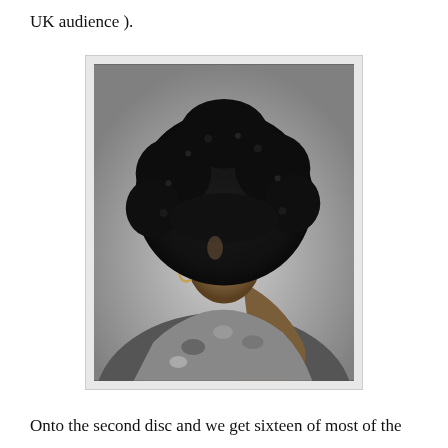UK audience ).
[Figure (photo): Black and white photograph of a woman with a large afro hairstyle, looking upward, wearing hoop earrings and a floral patterned garment, posed with one arm raised behind her head.]
Onto the second disc and we get sixteen of most of the